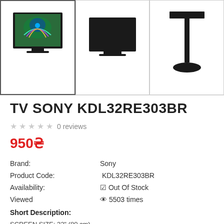[Figure (photo): Three product thumbnail images of Sony KDL32RE303BR TV: first shows TV front with peacock image on screen (selected/highlighted), second shows TV front view without content, third shows TV stand/mount side view]
TV SONY KDL32RE303BR
★★★★★ 0 reviews
950₴
| Brand: | Sony |
| Product Code: | KDL32RE303BR |
| Availability: | ✔ Out Of Stock |
| Viewed | 👁 5503 times |
Short Description:
SCREEN SIZE: 32" (80 cm)